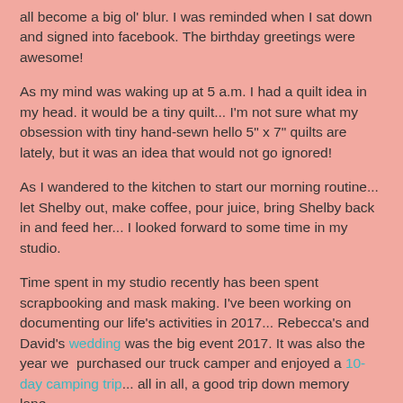all become a big ol' blur.  I was reminded when I sat down and signed into facebook.  The birthday greetings were awesome!
As my mind was waking up at 5 a.m. I had a quilt idea in my head.  it would be a tiny quilt... I'm not sure what my obsession with tiny hand-sewn hello 5" x 7" quilts are lately, but it was an idea that would not go ignored!
As I wandered to the kitchen to start our morning routine... let Shelby out, make coffee, pour juice, bring Shelby back in and feed her... I looked forward to some time in my studio.
Time spent in my studio recently has been spent scrapbooking and mask making.  I've been working on documenting our life's activities in 2017... Rebecca's and David's wedding was the big event 2017.  It was also the year we  purchased our truck camper and enjoyed a 10-day camping trip... all in all, a good trip down memory lane.
I realized that having this blog is a great tool... it offers a timeline of quilts and events as well as photos and all the